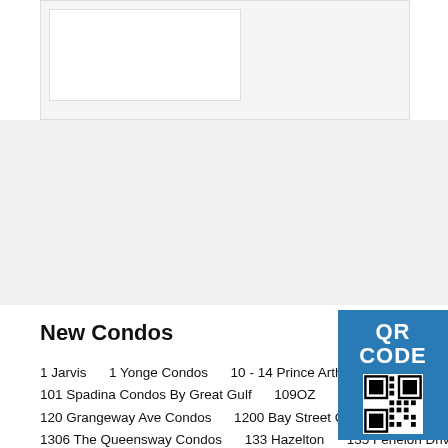[Figure (other): White box embedded in light gray container at top of page]
New Condos
1 Jarvis    1 Yonge Condos    10 - 14 Prince Arthur    10 St Mary C...
101 Spadina Condos By Great Gulf    109OZ    11 YV Condos    1...
120 Grangeway Ave Condos    1200 Bay Street Condos    121 Eas...
1306 The Queensway Condos    133 Hazelton    135 Fenelon Drive...
150 Fairview Mall Soul Condos    150 Pearl St Condos    150 Redp...
1575 Lawrence Avenue West Condos    158 Front Condos    158 F...
180 Burnhamthorpe West Condos    180 Steeles Avenue West Cond...    101...
200 Russell Hill Condos By Hirsh Development Group    210 Simcoe    2150 C...
2221 Yonge Condos    225 Queen Street East Condos Toronto    2400 Bathurs...
252 Church condos    260 High Park Condos    263 Adelaide    266 ROYAL Y...
299 Campbell Avenue    30 Ordance Street    30 Tippett Road
32 Raglan Avenue Condos    3201 Highway 7 W Condos    321 D...
3471 LAKE SHORE CONDOS IN ETOBICOKE    3471 Sheppard A...
383 Sorauren Condos    4 The Kingsway    400 King West Condos    400 Wel...